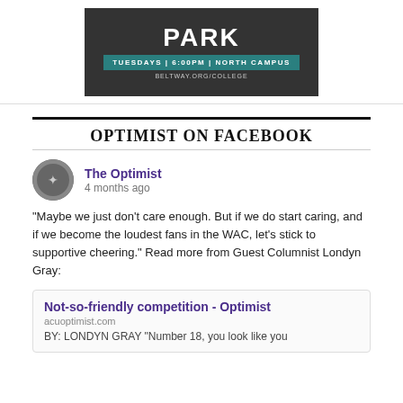[Figure (other): Advertisement banner for 'PARK' event - Tuesdays 6:00PM North Campus, beltway.org/college, dark background with teal highlight]
OPTIMIST ON FACEBOOK
The Optimist
4 months ago
"Maybe we just don't care enough. But if we do start caring, and if we become the loudest fans in the WAC, let's stick to supportive cheering." Read more from Guest Columnist Londyn Gray:
Not-so-friendly competition - Optimist
acuoptimist.com
BY: LONDYN GRAY "Number 18, you look like you